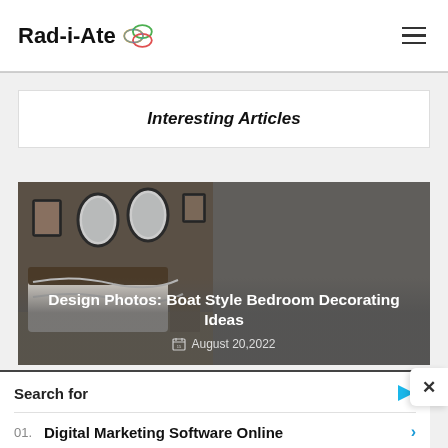Rad-i-Ate
Interesting Articles
[Figure (photo): Bedroom with oval mirrors on wall, white bedding, dark wood furniture – article thumbnail for 'Design Photos: Boat Style Bedroom Decorating Ideas']
Design Photos: Boat Style Bedroom Decorating Ideas
August 20,2022
Search for
01. Digital Marketing Software Online
02. Most Nutritious Dogie Foods
Yahoo! Search | Sponsored